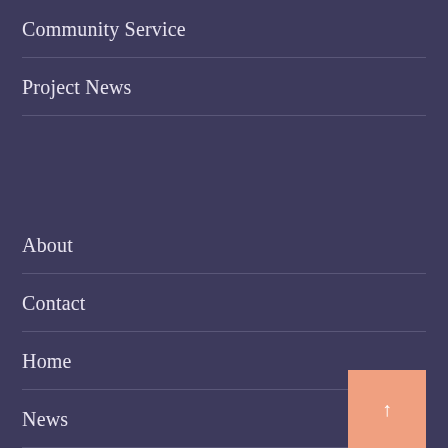Community Service
Project News
About
Contact
Home
News
Privacy Policy
[Figure (other): Scroll-to-top button with upward arrow, orange/salmon background color, positioned at bottom right corner]